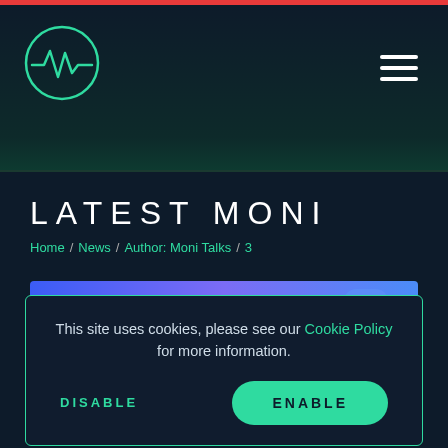[Figure (logo): Circular logo with heartbeat/waveform line in teal/green on dark background]
[Figure (illustration): Hamburger menu icon (three horizontal white lines) in upper right of header]
LATEST MONI
Home / News / Author: Moni Talks / 3
This site uses cookies, please see our Cookie Policy for more information.
DISABLE
ENABLE